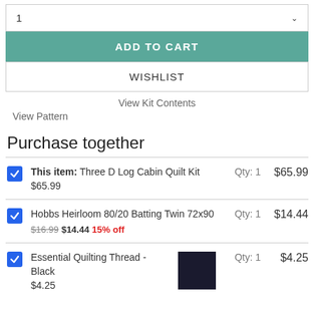1 (dropdown quantity selector)
ADD TO CART
WISHLIST
View Kit Contents
View Pattern
Purchase together
This item: Three D Log Cabin Quilt Kit $65.99 | Qty: 1 | $65.99
Hobbs Heirloom 80/20 Batting Twin 72x90 | $16.99 $14.44 15% off | Qty: 1 | $14.44
Essential Quilting Thread - Black $4.25 | Qty: 1 | $4.25